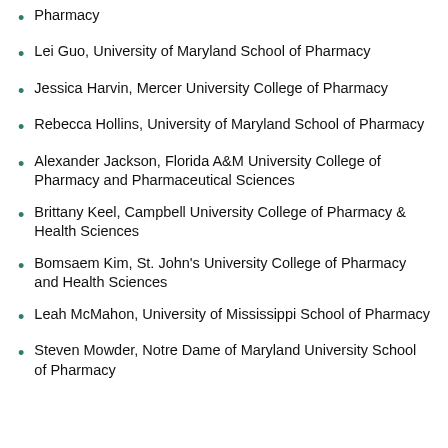Pharmacy
Lei Guo, University of Maryland School of Pharmacy
Jessica Harvin, Mercer University College of Pharmacy
Rebecca Hollins, University of Maryland School of Pharmacy
Alexander Jackson, Florida A&M University College of Pharmacy and Pharmaceutical Sciences
Brittany Keel, Campbell University College of Pharmacy & Health Sciences
Bomsaem Kim, St. John's University College of Pharmacy and Health Sciences
Leah McMahon, University of Mississippi School of Pharmacy
Steven Mowder, Notre Dame of Maryland University School of Pharmacy